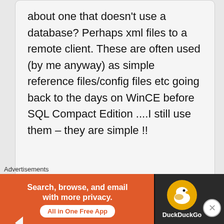about one that doesn't use a database? Perhaps xml files to a remote client. These are often used (by me anyway) as simple reference files/config files etc going back to the days on WinCE before SQL Compact Edition ....I still use them – they are simple !!
Rafik Robeal
February 23, 2008 at 2:14
· · · ·   · · · · ·   · · · ·
Advertisements
[Figure (infographic): DuckDuckGo advertisement banner with orange background on left side saying 'Search, browse, and email with more privacy. All in One Free App' and dark right side with DuckDuckGo logo and duck icon.]